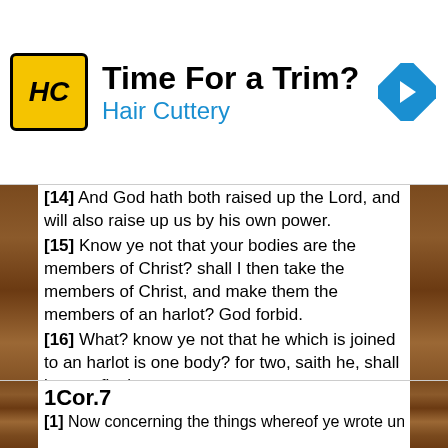[Figure (other): Hair Cuttery advertisement banner with logo showing HC letters, text 'Time For a Trim? Hair Cuttery', and a blue navigation arrow icon]
[14] And God hath both raised up the Lord, and will also raise up us by his own power. [15] Know ye not that your bodies are the members of Christ? shall I then take the members of Christ, and make them the members of an harlot? God forbid. [16] What? know ye not that he which is joined to an harlot is one body? for two, saith he, shall be one flesh. [17] But he that is joined unto the Lord is one spirit. [18] Flee fornication. Every sin that a man doeth is without the body; but he that commiteth fornication sinneth against his own body. [19] What? know ye not that your body is the temple of the Holy Ghost which is in you, which ye have of God, and ye are not your own? [20] For ye are bought with a price: therefore glorify God in your body, and in your spirit, which are God's.
1Cor.7
[1] Now concerning the things whereof ye wrote unto...